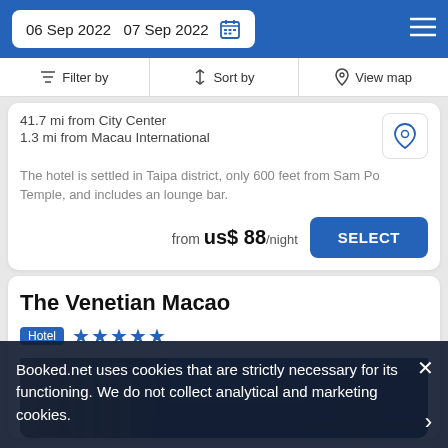06 Sep 2022  07 Sep 2022
Filter by  Sort by  View map
41.7 mi from City Center
1.3 mi from Macau International
The hotel is settled in Taipa district, only 600 feet from Sam Po Temple, and includes an lounge bar.
from us$ 88/night
SELECT
The Venetian Macao
Hotel ★★★★★
[Figure (photo): Hotel building exterior photo showing architectural columns and a tower at night]
Booked.net uses cookies that are strictly necessary for its functioning. We do not collect analytical and marketing cookies.